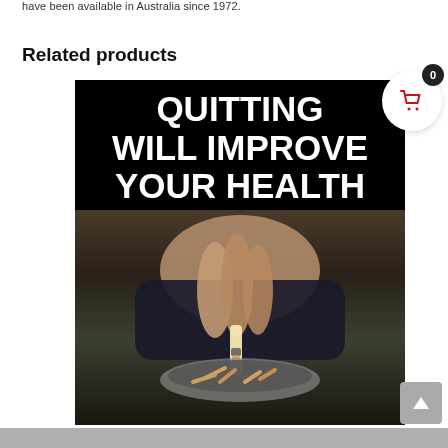have been available in Australia since 1972.
Related products
[Figure (photo): Product image with text 'QUITTING WILL IMPROVE YOUR HEALTH' overlaid in bold white text on black background, with a photo of a hand stubbing out a cigarette in an ashtray full of cigarette butts.]